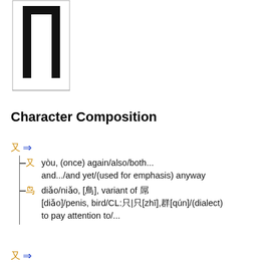[Figure (illustration): Chinese character stroke diagram showing a rectangular character frame with bold strokes]
Character Composition
又 ⟹
又 yòu, (once) again/also/both.../and.../and yet/(used for emphasis) anyway
鸟 diǎo/niǎo, [鳥], variant of 屌 [diǎo]/penis, bird/CL:只|只[zhī],群[qún]/(dialect) to pay attention to/...
又 ⟹